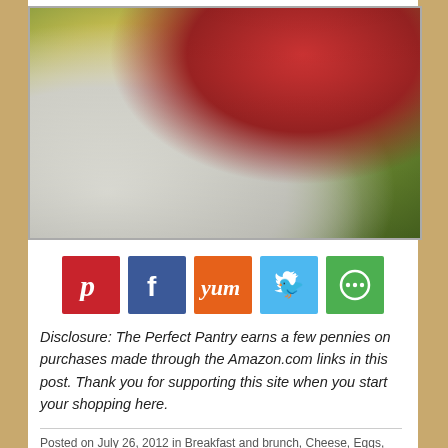[Figure (photo): Close-up photo of a slice of egg-based casserole or frittata with green vegetables on a white plate, with roasted tomatoes and a fork visible in the background]
[Figure (infographic): Row of social sharing buttons: Pinterest (red), Facebook (blue), Yummly (orange), Twitter (light blue), More (green)]
Disclosure: The Perfect Pantry earns a few pennies on purchases made through the Amazon.com links in this post. Thank you for supporting this site when you start your shopping here.
Posted on July 26, 2012 in Breakfast and brunch, Cheese, Eggs, Gluten free, Italian/Greek/Mediterranean, Low carb, Lunch and light supper dishes, Savory tarts, quiche, and egg casseroles, Vegetarian | Permalink | Comments (12)